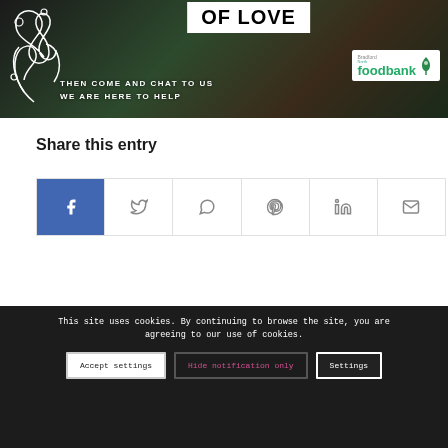[Figure (photo): Banner image with dark background, white swirl decorations on left, bold 'OF LOVE' text on white background, text 'THEN COME AND CHAT TO US WE ARE HERE TO HELP' in white, and Bradford North Foodbank logo on right]
Share this entry
[Figure (infographic): Row of social sharing icon buttons: Facebook (blue), Twitter, WhatsApp, Pinterest, LinkedIn, Email]
© Copyright 2021 · Shirley Christians Together  |  A Registered
This site uses cookies. By continuing to browse the site, you are agreeing to our use of cookies.
Accept settings  |  Hide notification only  |  Settings